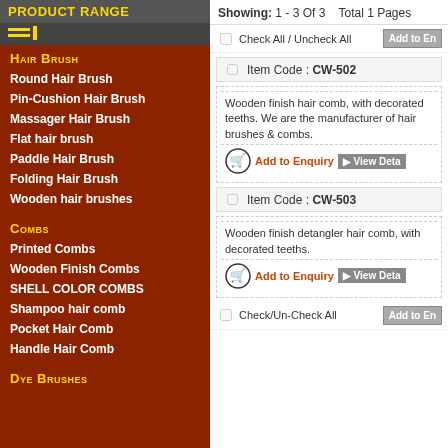Product Range
Hair Brush
Round Hair Brush
Pin-Cushion Hair Brush
Massager Hair Brush
Flat hair brush
Paddle Hair Brush
Folding Hair Brush
Wooden hair brushes
Combs
Printed Combs
Wooden Finish Combs
SHELL COLOR COMBS
Shampoo hair comb
Pocket Hair Comb
Handle Hair Comb
Dye Brushes
Showing: 1 - 3 Of 3   Total 1 Pages
Item Code : CW-502
Wooden finish hair comb, with decorated teeths. We are the manufacturer of hair brushes & combs.
Item Code : CW-503
Wooden finish detangler hair comb, with decorated teeths.